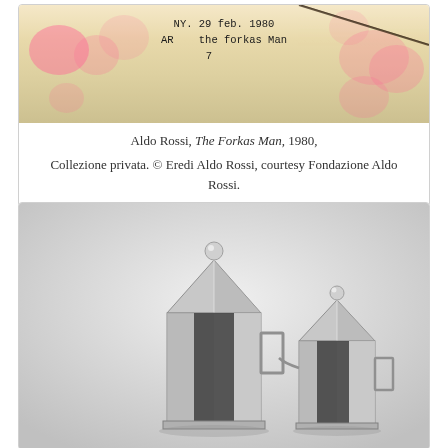[Figure (photo): Close-up photo of handwritten text on aged paper with pink floral background. Text reads: NY. 29 feb. 1980, AR the forkas Man, with number 7 below.]
Aldo Rossi, The Forkas Man, 1980, Collezione privata. © Eredi Aldo Rossi, courtesy Fondazione Aldo Rossi.
[Figure (photo): Black and white photograph of two La Conica espresso coffee makers designed by Aldo Rossi for Alessi. Both have conical tops with spherical ball finials, cylindrical bodies, and square handles. The larger pot is on the left and the smaller one on the right, both in polished stainless steel.]